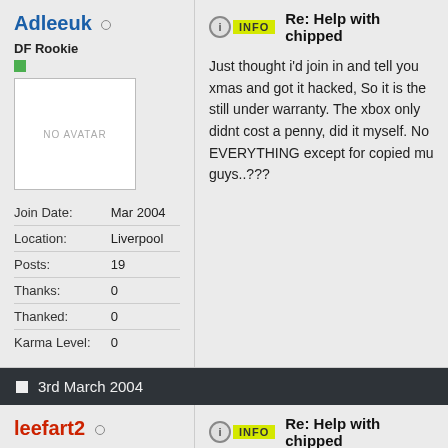Adleeuk
DF Rookie
| Label | Value |
| --- | --- |
| Join Date: | Mar 2004 |
| Location: | Liverpool |
| Posts: | 19 |
| Thanks: | 0 |
| Thanked: | 0 |
| Karma Level: | 0 |
Re: Help with chipped
Just thought i'd join in and tell you xmas and got it hacked, So it is the still under warranty. The xbox only didnt cost a penny, did it myself. No EVERYTHING except for copied mu guys..???
3rd March 2004
leefart2
DF VIP Member
Re: Help with chipped